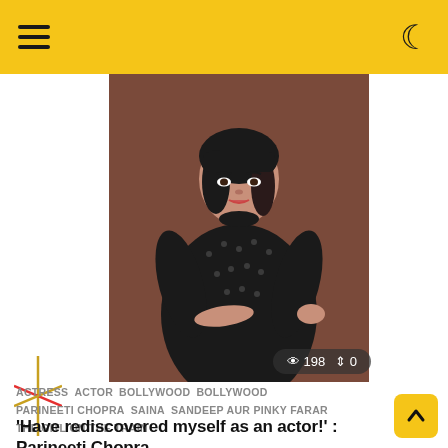Navigation bar with hamburger menu and dark mode toggle
[Figure (photo): Portrait photo of Parineeti Chopra wearing a black patterned long-sleeve dress, posed against a brown background, with view count 198 and share count 0 overlaid at bottom right]
ACTRESS ACTOR BOLLYWOOD BOLLYWOOD PARINEETI CHOPRA SAINA SANDEEP AUR PINKY FARAR THE GITL ON THE TRAIN
'Have rediscovered myself as an actor!' : Parineeti Chopra